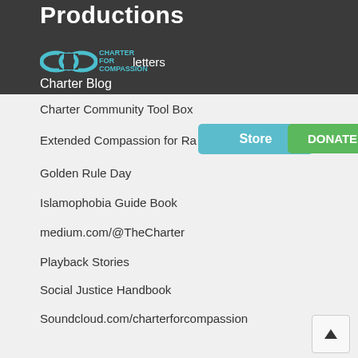Productions
[Figure (logo): Charter for Compassion logo — infinity symbol in teal with text 'CHARTER FOR COMPASSION']
newsletters
Charter Blog
Charter Community Tool Box
Extended Compassion for Ra...
Golden Rule Day
Islamophobia Guide Book
medium.com/@TheCharter
Playback Stories
Social Justice Handbook
Soundcloud.com/charterforcompassion
Spiritual Assets for Community Building
Waging Peace
What Makes a Compassionate City?
Webithon